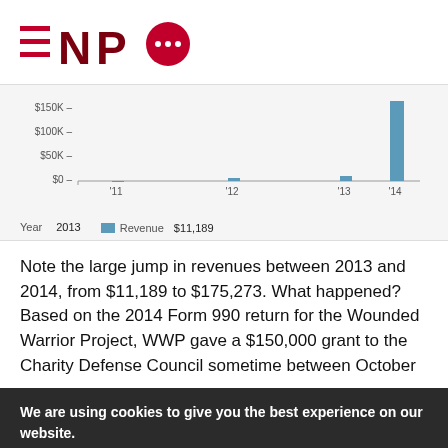[Figure (logo): NPQ logo: three red horizontal lines (hamburger menu icon) followed by NPQ text in dark red/maroon, with a red speech bubble containing three dots as the Q]
[Figure (bar-chart): Revenue by Year]
Year    2013
Revenue $11,189
Note the large jump in revenues between 2013 and 2014, from $11,189 to $175,273. What happened? Based on the 2014 Form 990 return for the Wounded Warrior Project, WWP gave a $150,000 grant to the Charity Defense Council sometime between October
We are using cookies to give you the best experience on our website.
Sign up!